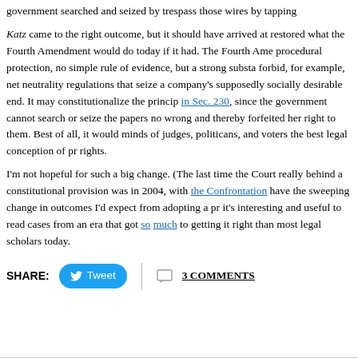government searched and seized by trespass those wires by tapping
Katz came to the right outcome, but it should have arrived at restored what the Fourth Amendment would do today if it had. The Fourth Ame procedural protection, no simple rule of evidence, but a strong substa forbid, for example, net neutrality regulations that seize a company's supposedly socially desirable end. It may constitutionalize the princip in Sec. 230, since the government cannot search or seize the papers no wrong and thereby forfeited her right to them. Best of all, it would minds of judges, politicans, and voters the best legal conception of pr rights.
I'm not hopeful for such a big change. (The last time the Court really behind a constitutional provision was in 2004, with the Confrontation have the sweeping change in outcomes I'd expect from adopting a pr it's interesting and useful to read cases from an era that got so much to getting it right than most legal scholars today.
SHARE: Tweet | 3 COMMENTS